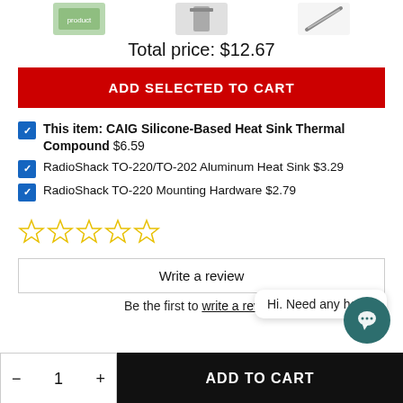[Figure (photo): Product thumbnail images strip at top of page]
Total price: $12.67
ADD SELECTED TO CART
This item: CAIG Silicone-Based Heat Sink Thermal Compound $6.59
RadioShack TO-220/TO-202 Aluminum Heat Sink $3.29
RadioShack TO-220 Mounting Hardware $2.79
[Figure (illustration): Five empty star rating display]
Write a review
Hi. Need any help?
Be the first to write a review
ADD TO CART